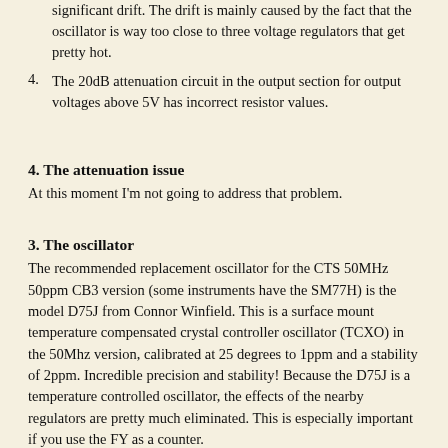significant drift. The drift is mainly caused by the fact that the oscillator is way too close to three voltage regulators that get pretty hot.
4. The 20dB attenuation circuit in the output section for output voltages above 5V has incorrect resistor values.
4. The attenuation issue
At this moment I'm not going to address that problem.
3. The oscillator
The recommended replacement oscillator for the CTS 50MHz 50ppm CB3 version (some instruments have the SM77H) is the model D75J from Connor Winfield. This is a surface mount temperature compensated crystal controller oscillator (TCXO) in the 50Mhz version, calibrated at 25 degrees to 1ppm and a stability of 2ppm. Incredible precision and stability! Because the D75J is a temperature controlled oscillator, the effects of the nearby regulators are pretty much eliminated. This is especially important if you use the FY as a counter.
To reduce some heat hot-spots from the three on-board regulators and oscillator, I added some additional heat sinks to the existing ones.